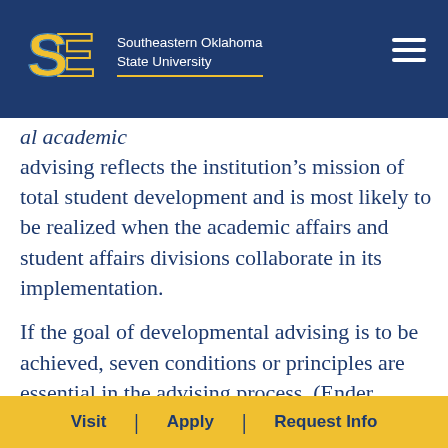Southeastern Oklahoma State University
al academic advising reflects the institution's mission of total student development and is most likely to be realized when the academic affairs and student affairs divisions collaborate in its implementation.
If the goal of developmental advising is to be achieved, seven conditions or principles are essential in the advising process. (Ender, Winston, and Miller, 1982). They have
Visit | Apply | Request Info